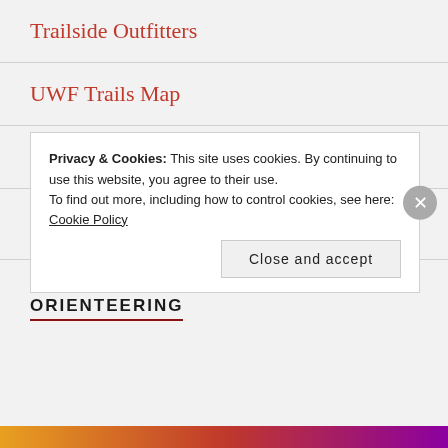Trailside Outfitters
UWF Trails Map
Weatherford's Outdoor
ORIENTEERING
Privacy & Cookies: This site uses cookies. By continuing to use this website, you agree to their use.
To find out more, including how to control cookies, see here: Cookie Policy
Close and accept